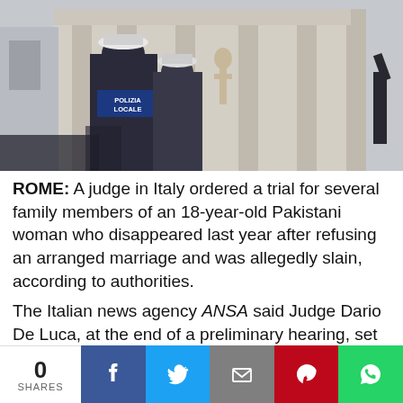[Figure (photo): Two police officers wearing 'POLIZIA LOCALE' uniforms stand in front of a neoclassical building with large columns and a statue]
ROME: A judge in Italy ordered a trial for several family members of an 18-year-old Pakistani woman who disappeared last year after refusing an arranged marriage and was allegedly slain, according to authorities.
The Italian news agency ANSA said Judge Dario De Luca, at the end of a preliminary hearing, set trial on murder charges to begin in the northern town of Reggio Emilia in
0 SHARES | Facebook | Twitter | Email | Pinterest | WhatsApp